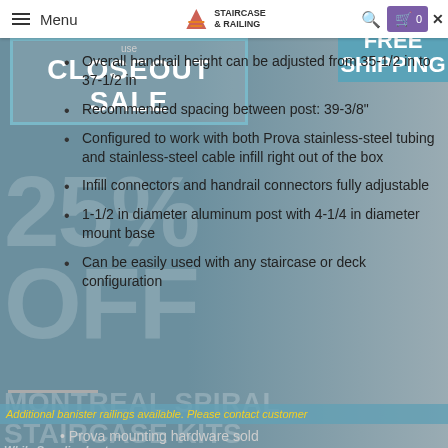Menu | Staircase & Railing
PLUS FREE SHIPPING
use CLOSEOUT SALE
25% OFF
Overall handrail height can be adjusted from 35-1/2 in to 37-1/2 in
Recommended spacing between post: 39-3/8"
Configured to work with both Prova stainless-steel tubing and stainless-steel cable infill right out of the box
Infill connectors and handrail connectors fully adjustable
MONTREAL SPIRAL STAIRCASE KITS
While Supplies Last
1-1/2 in diameter aluminum post with 4-1/4 in diameter mount base
Can be easily used with any staircase or deck configuration
Additional banister railings available. Please contact customer
Prova mounting hardware sold